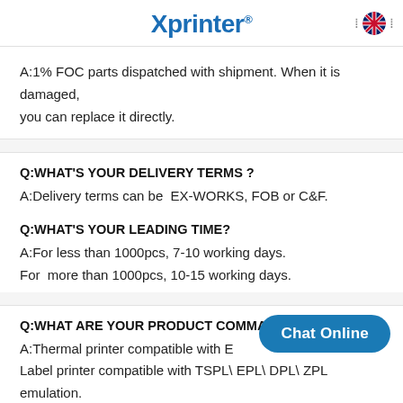Xprinter
A:1% FOC parts dispatched with shipment. When it is damaged, you can replace it directly.
Q:WHAT'S YOUR DELIVERY TERMS ?
A:Delivery terms can be  EX-WORKS, FOB or C&F.
Q:WHAT'S YOUR LEADING TIME?
A:For less than 1000pcs, 7-10 working days.
For  more than 1000pcs, 10-15 working days.
Q:WHAT ARE YOUR PRODUCT COMMAND?
A:Thermal printer compatible with E...
Label printer compatible with TSPL\ EPL\ DPL\ ZPL emulation.